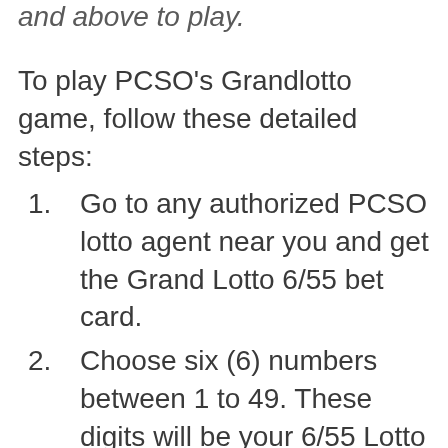and above to play.
To play PCSO's Grandlotto game, follow these detailed steps:
Go to any authorized PCSO lotto agent near you and get the Grand Lotto 6/55 bet card.
Choose six (6) numbers between 1 to 49. These digits will be your 6/55 Lotto combination.